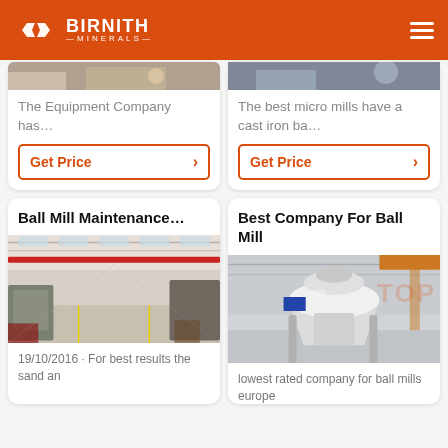BIRNITH MINERALS
The Equipment Company has…
Get Price
The best micro mills have a cast iron ba…
Get Price
Ball Mill Maintenance…
[Figure (photo): Interior of a large industrial factory hall with ball mill equipment, red overhead crane, high ceiling with skylights]
19/10/2016 · For best results the sand an
Best Company For Ball Mill
[Figure (photo): Large white cone crusher / ball mill machine in an industrial facility]
lowest rated company for ball mills europe